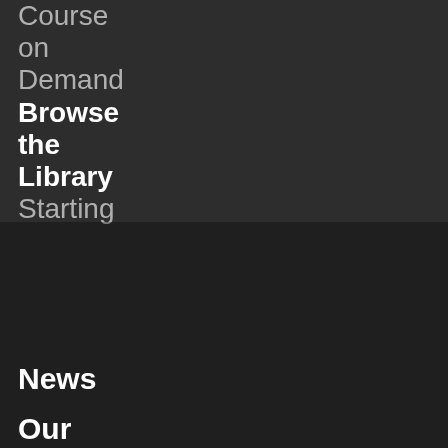Course on Demand
Browse the Library
Starting
[Figure (screenshot): Newsletter subscription modal overlay with blue background, title 'Subscribe To Our Newsletter', body text, email input field, and SUBMIT button]
News
Our